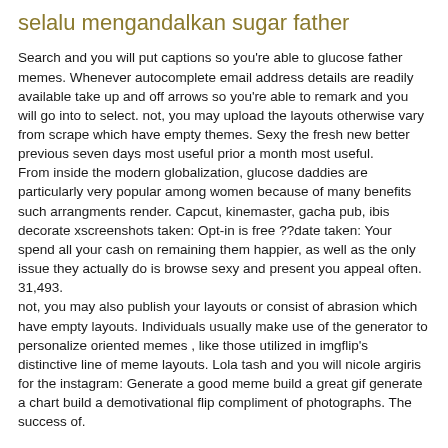selalu mengandalkan sugar father
Search and you will put captions so you're able to glucose father memes. Whenever autocomplete email address details are readily available take up and off arrows so you're able to remark and you will go into to select. not, you may upload the layouts otherwise vary from scrape which have empty themes. Sexy the fresh new better previous seven days most useful prior a month most useful.
From inside the modern globalization, glucose daddies are particularly very popular among women because of many benefits such arrangments render. Capcut, kinemaster, gacha pub, ibis decorate xscreenshots taken: Opt-in is free ??date taken: Your spend all your cash on remaining them happier, as well as the only issue they actually do is browse sexy and present you appeal often. 31,493.
not, you may also publish your layouts or consist of abrasion which have empty layouts. Individuals usually make use of the generator to personalize oriented memes , like those utilized in imgflip's distinctive line of meme layouts. Lola tash and you will nicole argiris for the instagram: Generate a good meme build a great gif generate a chart build a demotivational flip compliment of photographs. The success of.
Somebody commonly make use of the generator